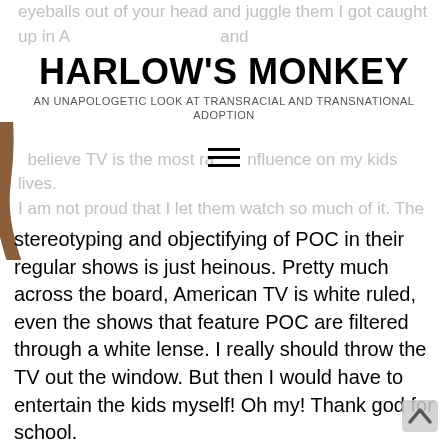eyeballs out of your head and juggle them I got caught up in A... and had to swear it off after that because it was SO addicting and made me feel ashamed of myself for caring about the next episode.
HARLOW'S MONKEY
AN UNAPOLOGETIC LOOK AT TRANSRACIAL AND TRANSNATIONAL ADOPTION
I believe TV is the most racist influence on my kids lives. I am not proud that I let them watch so much of it. The stereotyping and objectifying of POC in their regular shows is just heinous. Pretty much across the board, American TV is white ruled, even the shows that feature POC are filtered through a white lense. I really should throw the TV out the window. But then I would have to entertain the kids myself! Oh my! Thank god for school.
At some point in the next year, I will probably be having a hysto and I would LOVE to see my uterus. I kind of doubt they will let me though.